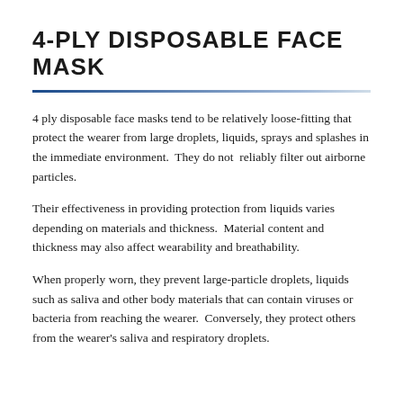4-PLY DISPOSABLE FACE MASK
4 ply disposable face masks tend to be relatively loose-fitting that protect the wearer from large droplets, liquids, sprays and splashes in the immediate environment.  They do not  reliably filter out airborne particles.
Their effectiveness in providing protection from liquids varies depending on materials and thickness.  Material content and thickness may also affect wearability and breathability.
When properly worn, they prevent large-particle droplets, liquids such as saliva and other body materials that can contain viruses or bacteria from reaching the wearer.  Conversely, they protect others from the wearer's saliva and respiratory droplets.